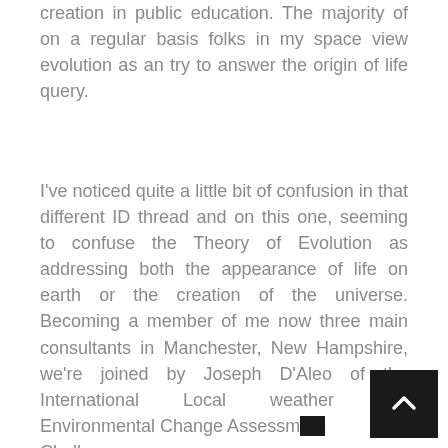creation in public education. The majority of on a regular basis folks in my space view evolution as an try to answer the origin of life query.
I've noticed quite a little bit of confusion in that different ID thread and on this one, seeming to confuse the Theory of Evolution as addressing both the appearance of life on earth or the creation of the universe. Becoming a member of me now three main consultants in Manchester, New Hampshire, we're joined by Joseph D'Aleo of the International Local weather and Environmental Change Assessm... Challenge.